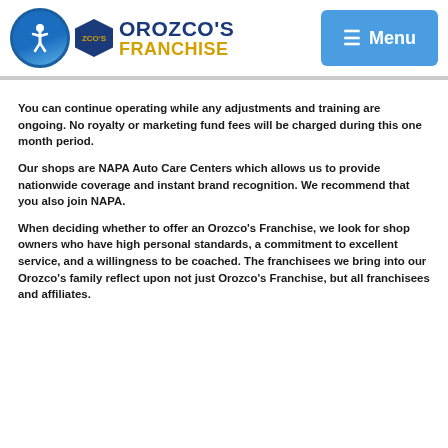[Figure (logo): Orozco's Franchise logo with accessibility icon and circular emblem]
You can continue operating while any adjustments and training are ongoing. No royalty or marketing fund fees will be charged during this one month period.
Our shops are NAPA Auto Care Centers which allows us to provide nationwide coverage and instant brand recognition. We recommend that you also join NAPA.
When deciding whether to offer an Orozco's Franchise, we look for shop owners who have high personal standards, a commitment to excellent service, and a willingness to be coached. The franchisees we bring into our Orozco's family reflect upon not just Orozco's Franchise, but all franchisees and affiliates.